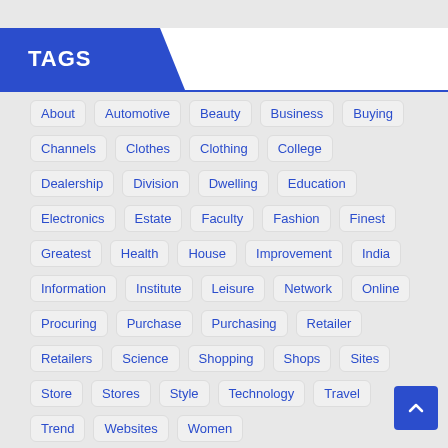TAGS
About
Automotive
Beauty
Business
Buying
Channels
Clothes
Clothing
College
Dealership
Division
Dwelling
Education
Electronics
Estate
Faculty
Fashion
Finest
Greatest
Health
House
Improvement
India
Information
Institute
Leisure
Network
Online
Procuring
Purchase
Purchasing
Retailer
Retailers
Science
Shopping
Shops
Sites
Store
Stores
Style
Technology
Travel
Trend
Websites
Women